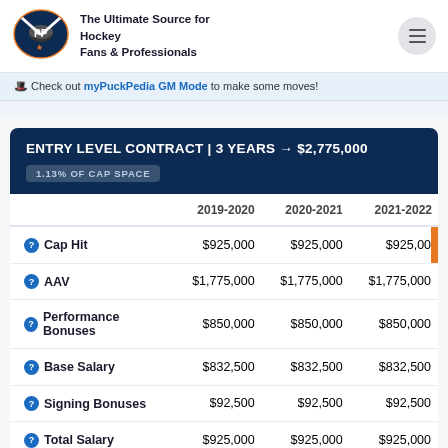[Figure (logo): PuckPedia logo with hockey sticks and puck icon]
The Ultimate Source for Hockey Fans & Professionals
🎩 Check out myPuckPedia GM Mode to make some moves!
ENTRY LEVEL CONTRACT | 3 YEARS → $2,775,000
1.13% OF CAP SPACE
|  | 2019-2020 | 2020-2021 | 2021-2022 |
| --- | --- | --- | --- |
| Cap Hit | $925,000 | $925,000 | $925,000 |
| AAV | $1,775,000 | $1,775,000 | $1,775,000 |
| Performance Bonuses | $850,000 | $850,000 | $850,000 |
| Base Salary | $832,500 | $832,500 | $832,500 |
| Signing Bonuses | $92,500 | $92,500 | $92,500 |
| Total Salary | $925,000 | $925,000 | $925,000 |